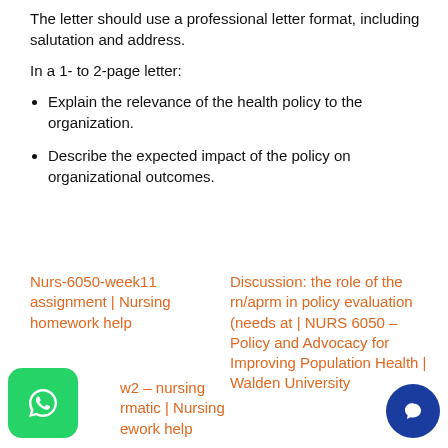The letter should use a professional letter format, including salutation and address.
In a 1- to 2-page letter:
Explain the relevance of the health policy to the organization.
Describe the expected impact of the policy on organizational outcomes.
Nurs-6050-week11 assignment | Nursing homework help
Discussion: the role of the rn/aprm in policy evaluation (needs at | NURS 6050 – Policy and Advocacy for Improving Population Health | Walden University
w2 – nursing rmatic | Nursing ework help